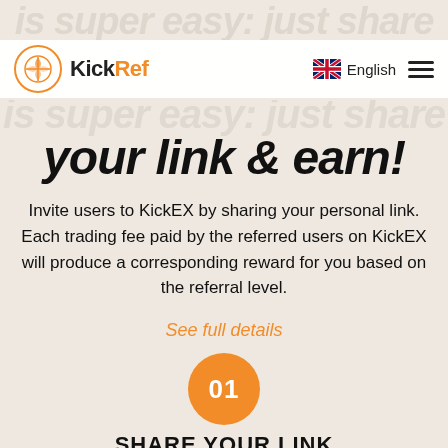KickRef — navigation bar with logo, English language selector, and hamburger menu
is super easy: just share your link & earn!
Invite users to KickEX by sharing your personal link. Each trading fee paid by the referred users on KickEX will produce a corresponding reward for you based on the referral level.
See full details
[Figure (other): Orange circle with number 01 indicating step 1]
SHARE YOUR LINK
Share your link via messengers and social